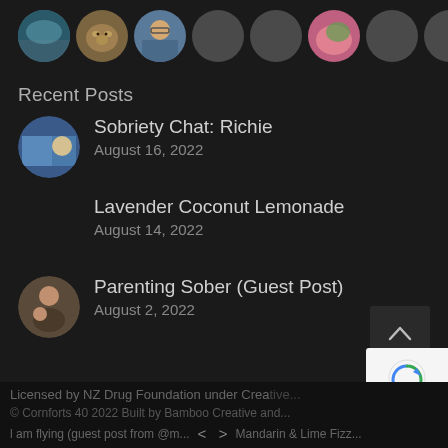[Figure (other): Row of circular user avatar profile photos — landscape, cat, person with glasses, grey placeholder, grey placeholder, pink/green image, grey placeholder, grey placeholder, blue marble/earth]
Recent Posts
Sobriety Chat: Richie
August 16, 2022
Lavender Coconut Lemonade
August 14, 2022
Parenting Sober (Guest Post)
August 2, 2022
Licensed by NZ Drug Foundation under Crea...
| am flying (guest post from @m...  <  >  Mandarin & Lime Fizz...
© Cornforts 40 2022 Built by Bamboo Creative and...